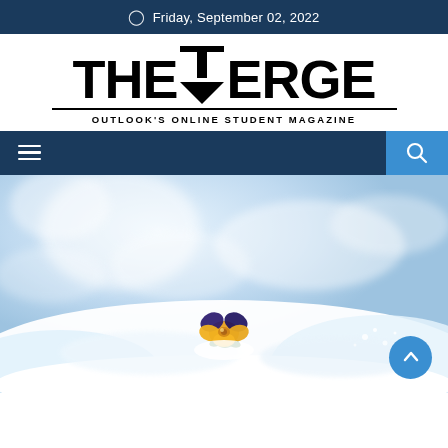Friday, September 02, 2022
THE VERGE — OUTLOOK'S ONLINE STUDENT MAGAZINE
[Figure (screenshot): Navigation bar with hamburger menu icon on left and search icon on right, dark navy background with blue search panel]
[Figure (photo): A small yellow and purple pansy flower emerging from snow, set against a blurred blue/white sky background]